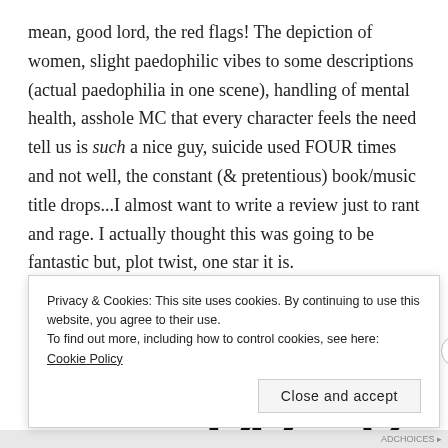mean, good lord, the red flags! The depiction of women, slight paedophilic vibes to some descriptions (actual paedophilia in one scene), handling of mental health, asshole MC that every character feels the need tell us is such a nice guy, suicide used FOUR times and not well, the constant (& pretentious) book/music title drops...I almost want to write a review just to rant and rage. I actually thought this was going to be fantastic but, plot twist, one star it is.
[Figure (logo): Partial cursive/handwritten blog logo text starting with 'Blo' in large black script lettering]
Privacy & Cookies: This site uses cookies. By continuing to use this website, you agree to their use.
To find out more, including how to control cookies, see here: Cookie Policy
Close and accept